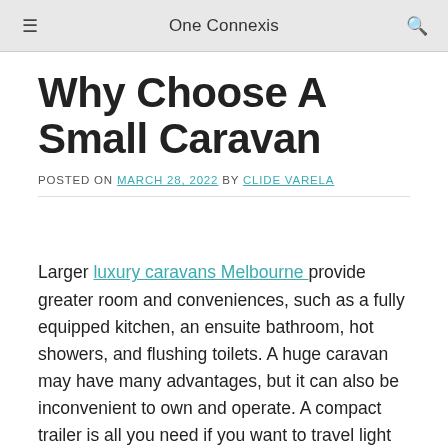One Connexis
Why Choose A Small Caravan
POSTED ON MARCH 28, 2022 BY CLIDE VARELA
Larger luxury caravans Melbourne provide greater room and conveniences, such as a fully equipped kitchen, an ensuite bathroom, hot showers, and flushing toilets. A huge caravan may have many advantages, but it can also be inconvenient to own and operate. A compact trailer is all you need if you want to travel light and simply around